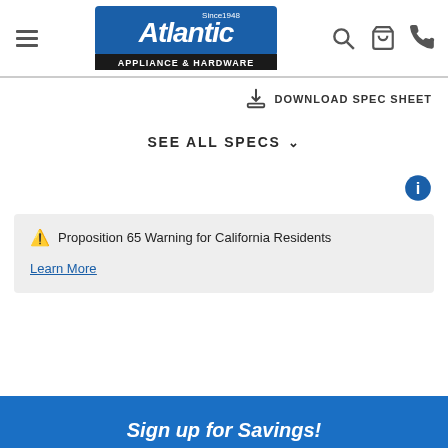[Figure (logo): Atlantic Appliance & Hardware logo, blue background with Since 1948 text]
DOWNLOAD SPEC SHEET
SEE ALL SPECS
⚠ Proposition 65 Warning for California Residents
Learn More
Sign up for Savings!